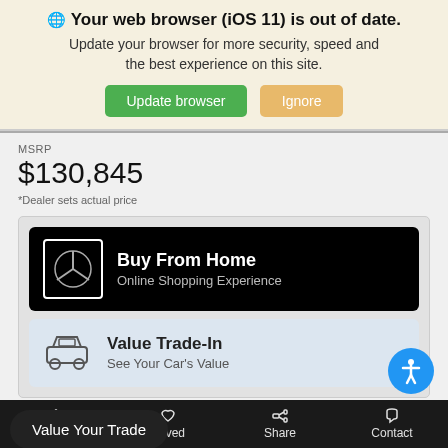🌐 Your web browser (iOS 11) is out of date. Update your browser for more security, speed and the best experience on this site.
Update browser
Ignore
MSRP
$130,845
*Dealer sets actual price
Buy From Home
Online Shopping Experience
Value Trade-In
See Your Car's Value
Value Your Trade
Filter   Saved   Share   Contact